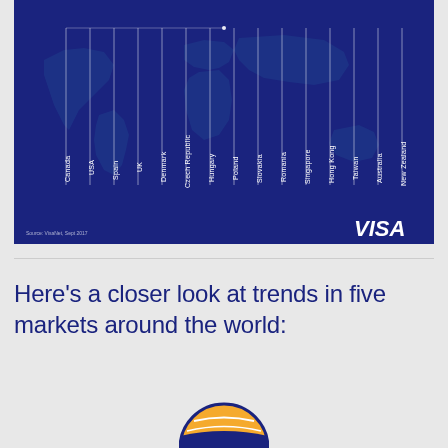[Figure (infographic): Dark navy blue world map infographic showing 15 countries connected with lines to a central point: Canada, USA, Spain, UK, Denmark, Czech Republic, Hungary, Poland, Slovakia, Romania, Singapore, Hong Kong, Taiwan, Australia, New Zealand. VISA logo in bottom right. Source: VisaNet, Sept 2017.]
Here's a closer look at trends in five markets around the world:
[Figure (logo): Partial Visa globe logo visible at bottom of page]